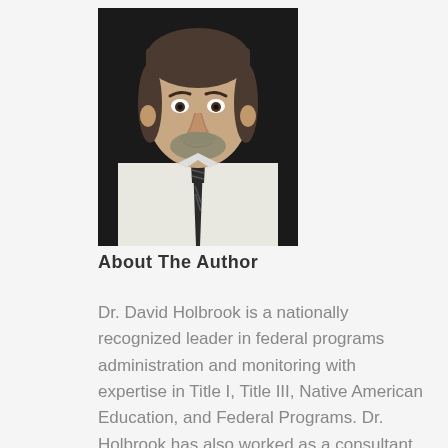[Figure (photo): Professional headshot of Dr. David Holbrook, a middle-aged man with gray-streaked dark hair and beard, wearing a white dress shirt and dark striped tie, against a dark background.]
About The Author
Dr. David Holbrook is a nationally recognized leader in federal programs administration and monitoring with expertise in Title I, Title III, Native American Education, and Federal Programs. Dr. Holbrook has also worked as a consultant with Title III of the US